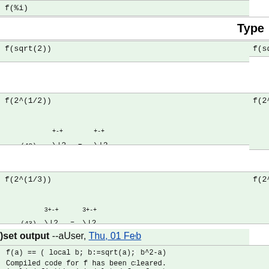f(%i)
Type
f(sqrt(2))
f(2^(1/2))
f(2^(1/3))
)set output --aUser, Thu, 01 Feb
f(a) == ( local b; b:=sqrt(a); b^2-a)
Compiled code for f has been cleared.
1 old definition(s) deleted for funct